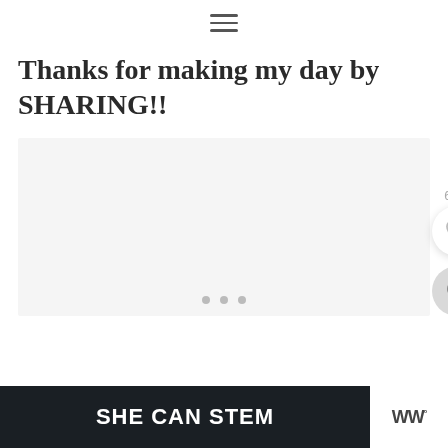☰ (hamburger menu icon)
Thanks for making my day by SHARING!!
[Figure (screenshot): A light gray image placeholder area with three navigation dots at the bottom center, a heart/like button (677 likes) and a search button on the right side]
[Figure (screenshot): Bottom banner with dark background showing 'SHE CAN STEM' text in white bold letters, and a 'W°' logo on the right white section]